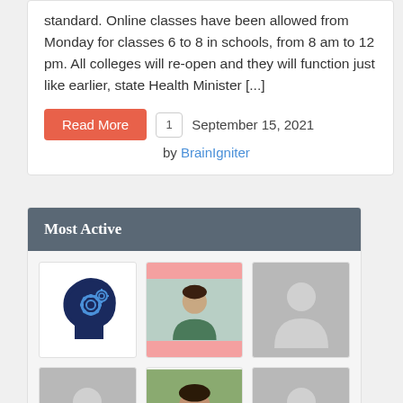standard. Online classes have been allowed from Monday for classes 6 to 8 in schools, from 8 am to 12 pm. All colleges will re-open and they will function just like earlier, state Health Minister [...]
Read More   1   September 15, 2021
by BrainIgniter
Most Active
[Figure (photo): Grid of 6 user profile avatars: 1st is a brain-with-gears icon (dark blue), 2nd is a photo of a person with pink top/bottom borders, 3rd is a grey default silhouette, 4th is a grey default silhouette, 5th is a photo of a person outdoors, 6th is a grey default silhouette.]